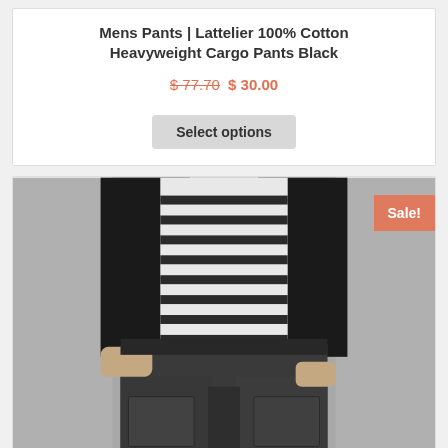Mens Pants | Lattelier 100% Cotton Heavyweight Cargo Pants Black
$ 77.70 $ 30.00
Select options
[Figure (photo): Man wearing dark grey/black heavyweight cargo pants with a black zip-up jacket and a white and black striped shirt. The photo shows the torso and legs of the model. A 'Sale!' badge is visible in the upper right corner of the product card.]